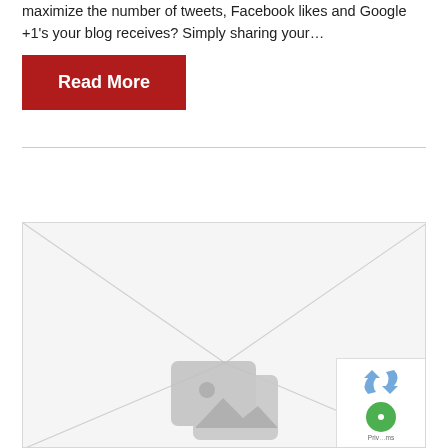maximize the number of tweets, Facebook likes and Google +1's your blog receives? Simply sharing your...
Read More
[Figure (illustration): An envelope illustration with diagonal fold lines and an overlapping image placeholder icon in the center, shown against a light gray background with a border.]